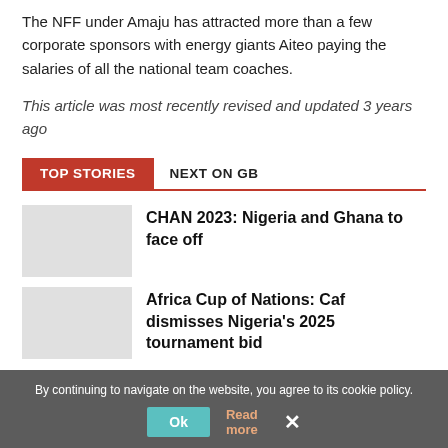The NFF under Amaju has attracted more than a few corporate sponsors with energy giants Aiteo paying the salaries of all the national team coaches.
This article was most recently revised and updated 3 years ago
TOP STORIES | NEXT ON GB
CHAN 2023: Nigeria and Ghana to face off
Africa Cup of Nations: Caf dismisses Nigeria's 2025 tournament bid
By continuing to navigate on the website, you agree to its cookie policy.